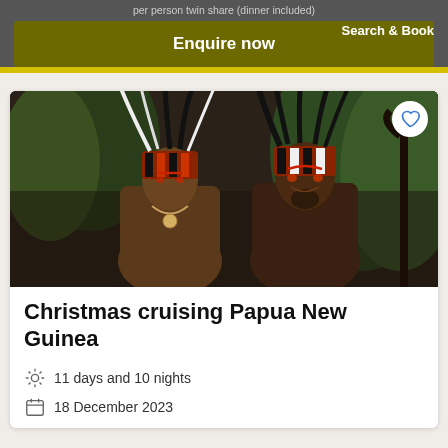per person twin share (dinner included)
Search & Book
Enquire now
[Figure (photo): Two Papua New Guinean men wearing traditional headdresses with feathers and face paint, smiling at camera. A heart/favorite button is visible in the top-right corner of the image.]
Christmas cruising Papua New Guinea
11 days and 10 nights
18 December 2023